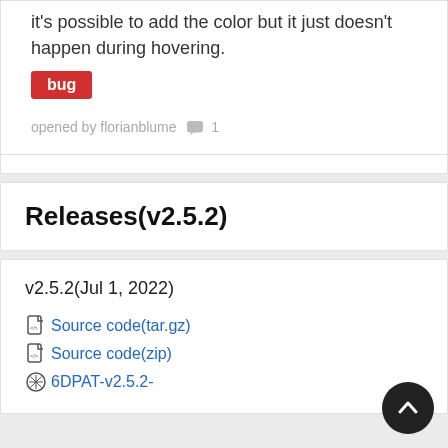it's possible to add the color but it just doesn't happen during hovering.
bug
opened by florianblume 💬 1
Releases(v2.5.2)
v2.5.2(Jul 1, 2022)
Source code(tar.gz)
Source code(zip)
6DPAT-v2.5.2-